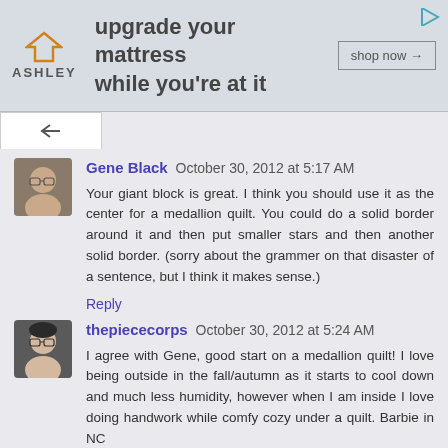[Figure (other): Ashley Furniture advertisement banner: logo with house icon, text 'upgrade your mattress while you're at it', and 'shop now →' button]
[Figure (photo): Avatar photo of Gene Black, older man with glasses]
Gene Black October 30, 2012 at 5:17 AM
Your giant block is great. I think you should use it as the center for a medallion quilt. You could do a solid border around it and then put smaller stars and then another solid border. (sorry about the grammer on that disaster of a sentence, but I think it makes sense.)
Reply
[Figure (photo): Avatar photo of thepiececorps, woman with dark hair and glasses]
thepiececorps October 30, 2012 at 5:24 AM
I agree with Gene, good start on a medallion quilt! I love being outside in the fall/autumn as it starts to cool down and much less humidity, however when I am inside I love doing handwork while comfy cozy under a quilt. Barbie in NC
Reply